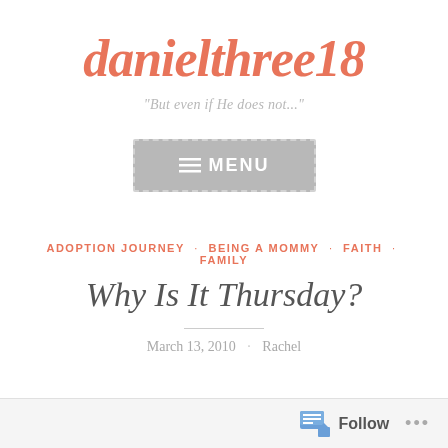danielthree18
"But even if He does not..."
[Figure (screenshot): Menu button with hamburger icon and text MENU on grey background with dashed border]
ADOPTION JOURNEY · BEING A MOMMY · FAITH · FAMILY
Why Is It Thursday?
March 13, 2010 · Rachel
Follow ...